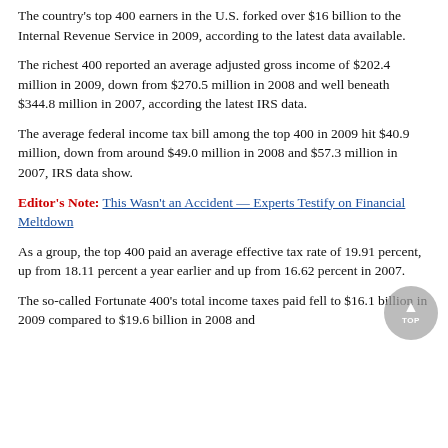The country's top 400 earners in the U.S. forked over $16 billion to the Internal Revenue Service in 2009, according to the latest data available.
The richest 400 reported an average adjusted gross income of $202.4 million in 2009, down from $270.5 million in 2008 and well beneath $344.8 million in 2007, according the latest IRS data.
The average federal income tax bill among the top 400 in 2009 hit $40.9 million, down from around $49.0 million in 2008 and $57.3 million in 2007, IRS data show.
Editor's Note: This Wasn't an Accident — Experts Testify on Financial Meltdown
As a group, the top 400 paid an average effective tax rate of 19.91 percent, up from 18.11 percent a year earlier and up from 16.62 percent in 2007.
The so-called Fortunate 400's total income taxes paid fell to $16.1 billion in 2009 compared to $19.6 billion in 2008 and